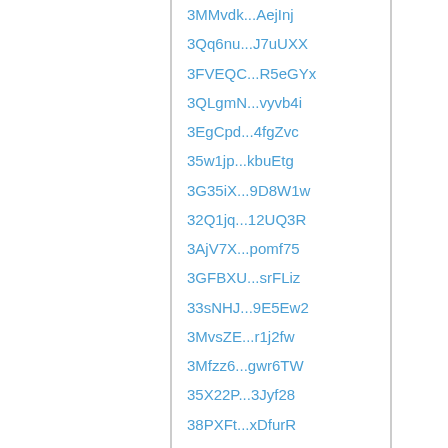3MMvdk...AejInj
3Qq6nu...J7uUXX
3FVEQC...R5eGYx
3QLgmN...vyvb4i
3EgCpd...4fgZvc
35w1jp...kbuEtg
3G35iX...9D8W1w
32Q1jq...12UQ3R
3AjV7X...pomf75
3GFBXU...srFLiz
33sNHJ...9E5Ew2
3MvsZE...r1j2fw
3Mfzz6...gwr6TW
35X22P...3Jyf28
38PXFt...xDfurR
3HBS6v...wXZq6P
3Mq3oy...PkMVdR
3Ezv3u...deQjhV
3FPfVY...vrXSXn
33UgE7...eSKbMy
3AeeAL...Ezi5hT
3HVKsa...UF891i
3FkQB1...7A518x